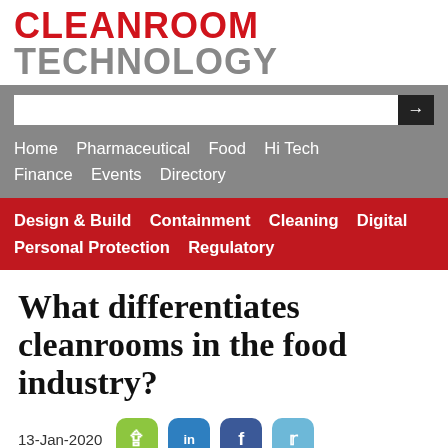CLEANROOM TECHNOLOGY
[Figure (screenshot): Navigation bar with search box and grey menu links: Home, Pharmaceutical, Food, Hi Tech, Finance, Events, Directory]
[Figure (screenshot): Red navigation bar with links: Design & Build, Containment, Cleaning, Digital, Personal Protection, Regulatory]
What differentiates cleanrooms in the food industry?
13-Jan-2020
Design & Build | Infection Control | Active Nutrition |